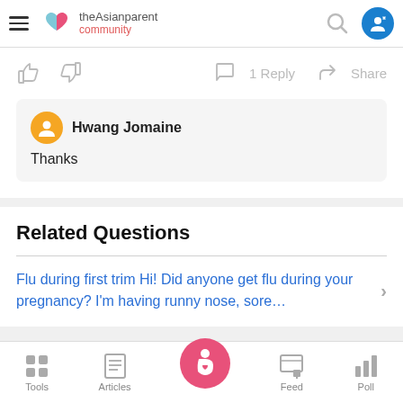theAsianparent community
1 Reply   Share
Hwang Jomaine
Thanks
Related Questions
Flu during first trim Hi! Did anyone get flu during your pregnancy? I'm having runny nose, sore…
Tools   Articles   Feed   Poll